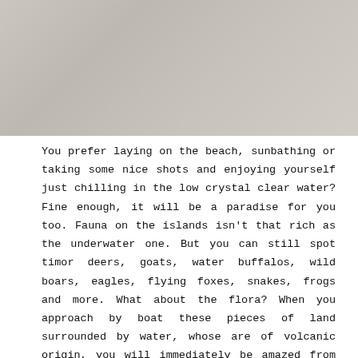[Figure (photo): A landscape photograph, likely showing an island or beach scene, rendered in grayscale/faded tones at the top of the page.]
You prefer laying on the beach, sunbathing or taking some nice shots and enjoying yourself just chilling in the low crystal clear water? Fine enough, it will be a paradise for you too. Fauna on the islands isn't that rich as the underwater one. But you can still spot timor deers, goats, water buffalos, wild boars, eagles, flying foxes, snakes, frogs and more. What about the flora? When you approach by boat these pieces of land surrounded by water, whose are of volcanic origin, you will immediately be amazed from their extremely rounded hills (till 750meter high), the savannah vegetation covering almost all the surfaces (except for